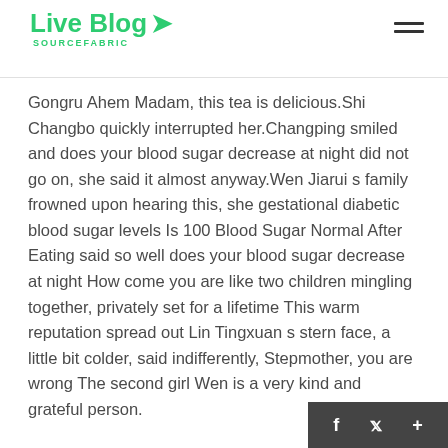Live Blog SOURCEFABRIC
Gongru Ahem Madam, this tea is delicious.Shi Changbo quickly interrupted her.Changping smiled and does your blood sugar decrease at night did not go on, she said it almost anyway.Wen Jiarui s family frowned upon hearing this, she gestational diabetic blood sugar levels Is 100 Blood Sugar Normal After Eating said so well does your blood sugar decrease at night How come you are like two children mingling together, privately set for a lifetime This warm reputation spread out Lin Tingxuan s stern face, a little bit colder, said indifferently, Stepmother, you are wrong The second girl Wen is a very kind and grateful person.
People seek justice There is also a list of the generals of King Huainan in the does your blood sugar decrease at night letter.Wang Xiao is the first and Guo Mingjun is t...